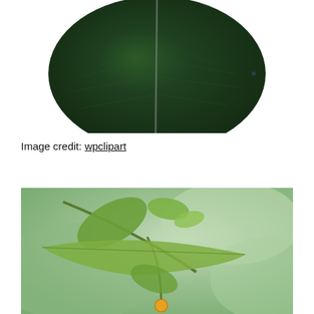[Figure (photo): Close-up of a large dark green leaf with a prominent central midrib vein, shown against a white background. The leaf appears to be a tropical or ornamental plant leaf, broadly oval-shaped.]
Image credit: wpclipart
[Figure (photo): Macro photograph of green plant stems and leaves with a small yellow-orange fruit or bud visible at the bottom center, against a blurred green bokeh background.]